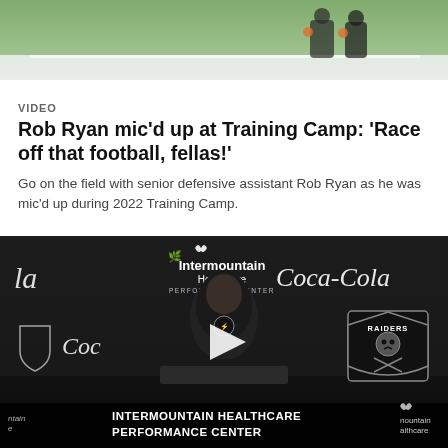[Figure (photo): Top portion showing a sports field scene, partially visible, with green turf and players at top of frame]
VIDEO
Rob Ryan mic'd up at Training Camp: 'Race off that football, fellas!'
Go on the field with senior defensive assistant Rob Ryan as he was mic'd up during 2022 Training Camp.
[Figure (screenshot): Video thumbnail showing a person at a press conference podium with Intermountain Healthcare Performance Center branding, Raiders logo, and Coca-Cola logos on dark background. A play button is overlaid in the center.]